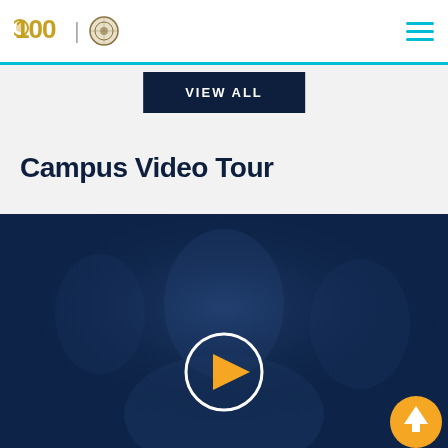University Logo | VIEW ALL navigation header with hamburger menu
VIEW ALL
Campus Video Tour
[Figure (photo): Campus video tour thumbnail showing a smiling young woman with a dark blue overlay tint. A white circle play button is centered on the image, and a yellow circular up-arrow button appears in the bottom-right corner.]